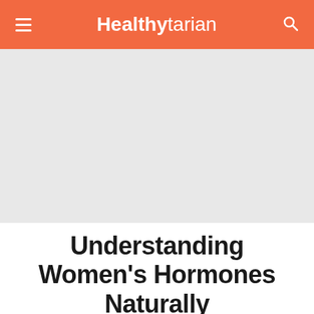Healthytarian
[Figure (photo): Gray placeholder image area representing a header image for the article about women's hormones]
Understanding Women's Hormones Naturally
Featuring Cathy Margolin, LAc